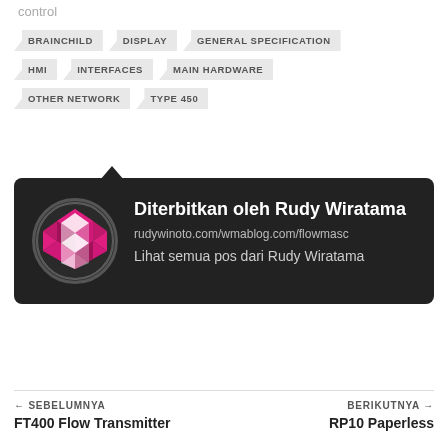control
BRAINCHILD
DISPLAY
GENERAL SPECIFICATION
HMI
INTERFACES
MAIN HARDWARE
OTHER NETWORK
TYPE 450
[Figure (illustration): Author card with dark background showing avatar (pink/white geometric pattern logo), name Diterbitkan oleh Rudy Wiratama, link rudywinoto.com/wmablog.com/flowmasc, and text Lihat semua pos dari Rudy Wiratama]
Diterbitkan oleh Rudy Wiratama
rudywinoto.com/wmablog.com/flowmasc
Lihat semua pos dari Rudy Wiratama
← SEBELUMNYA
FT400 Flow Transmitter
BERIKUTNYA →
RP10 Paperless